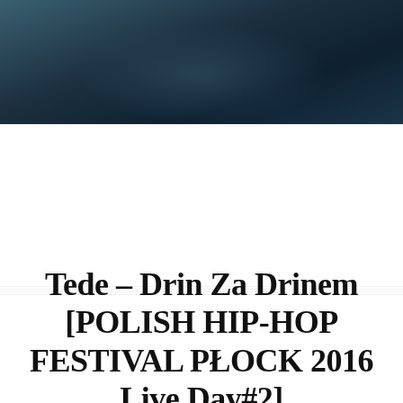[Figure (photo): A person wearing a dark denim jacket, photographed from chest up, with a blurred light background. Dark moody tones.]
Tede – Drin Za Drinem [POLISH HIP-HOP FESTIVAL PŁOCK 2016 Live Day#2]